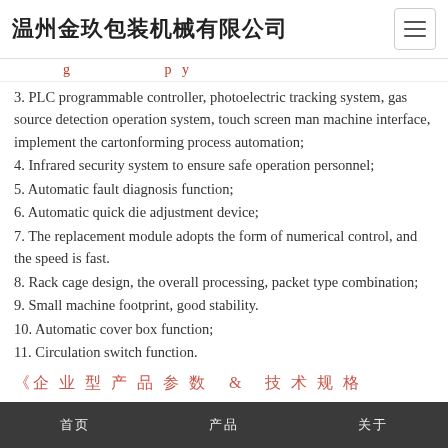温州金玖包装机械有限公司
…(truncated red line above item 3)
3. PLC programmable controller, photoelectric tracking system, gas source detection operation system, touch screen man machine interface, implement the cartonforming process automation;
4. Infrared security system to ensure safe operation personnel;
5. Automatic fault diagnosis function;
6. Automatic quick die adjustment device;
7. The replacement module adopts the form of numerical control, and the speed is fast.
8. Rack cage design, the overall processing, packet type combination;
9. Small machine footprint, good stability.
10. Automatic cover box function;
11. Circulation switch function.
…(truncated red bottom line)
首页    产品    关于